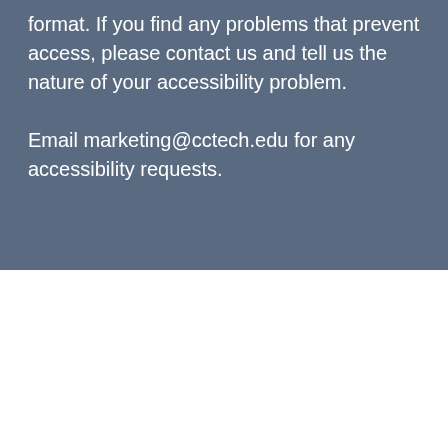format. If you find any problems that prevent access, please contact us and tell us the nature of your accessibility problem.
Email marketing@cctech.edu for any accessibility requests.
[Figure (logo): Central Carolina Technical College logo: dark navy circle with gold wave lines, beside bold text 'CENTRAL CAROLINA TECHNICAL COLLEGE']
Main   506 N. Guignard Drive
Campus   Sumter, SC 29150